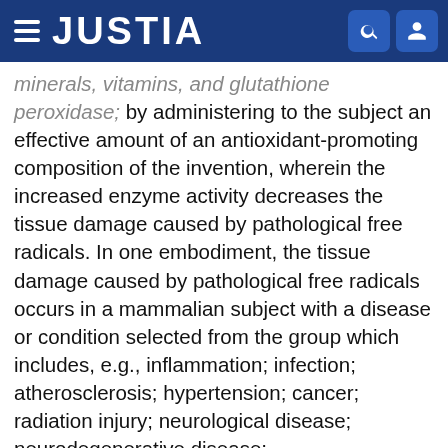JUSTIA
...minerals, vitamins, and glutathione peroxidase; by administering to the subject an effective amount of an antioxidant-promoting composition of the invention, wherein the increased enzyme activity decreases the tissue damage caused by pathological free radicals. In one embodiment, the tissue damage caused by pathological free radicals occurs in a mammalian subject with a disease or condition selected from the group which includes, e.g., inflammation; infection; atherosclerosis; hypertension; cancer; radiation injury; neurological disease; neurodegenerative disease; ischemia/reperfusion injury; aging; wound healing; glutathione deficiency; acquired immunodeficiency syndrome; sickle cell anemia; and diabetes mellitus. In one embodiment of the method, the antioxidant-promoting composition is administered as an oral dietary supplement.